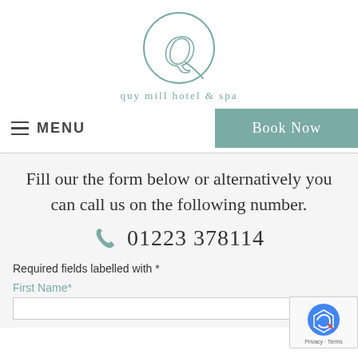[Figure (logo): Quy Mill Hotel & Spa circular Q logo in teal/green outline]
quy mill hotel & spa
MENU  |  Book Now
Fill our the form below or alternatively you can call us on the following number.
01223 378114
Required fields labelled with *
First Name*